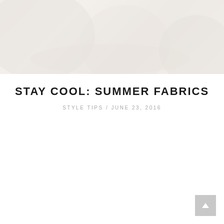[Figure (photo): Hero banner image — blurred/faded outdoor photograph with light, airy tones in beige and grey]
STAY COOL: SUMMER FABRICS
STYLE TIPS / JUNE 23, 2016